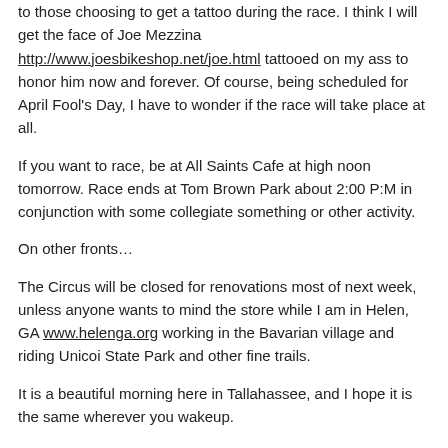to those choosing to get a tattoo during the race. I think I will get the face of Joe Mezzina http://www.joesbikeshop.net/joe.html tattooed on my ass to honor him now and forever. Of course, being scheduled for April Fool's Day, I have to wonder if the race will take place at all.
If you want to race, be at All Saints Cafe at high noon tomorrow. Race ends at Tom Brown Park about 2:00 P:M in conjunction with some collegiate something or other activity.
On other fronts…
The Circus will be closed for renovations most of next week, unless anyone wants to mind the store while I am in Helen, GA www.helenga.org working in the Bavarian village and riding Unicoi State Park and other fine trails.
It is a beautiful morning here in Tallahassee, and I hope it is the same wherever you wakeup.
Check back later, as I have lots of morning left to remember what I